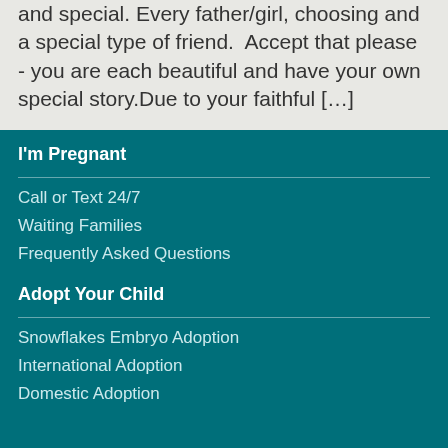and special. Every father/girl, choosing and a special type of friend. Accept that please - you are each beautiful and have your own special story.Due to your faithful […]
I'm Pregnant
Call or Text 24/7
Waiting Families
Frequently Asked Questions
Adopt Your Child
Snowflakes Embryo Adoption
International Adoption
Domestic Adoption